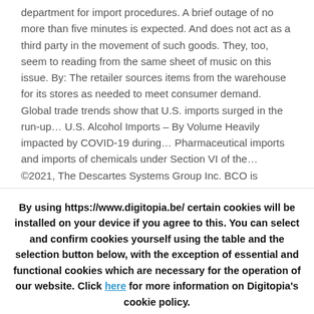department for import procedures. A brief outage of no more than five minutes is expected. And does not act as a third party in the movement of such goods. They, too, seem to reading from the same sheet of music on this issue. By: The retailer sources items from the warehouse for its stores as needed to meet consumer demand. Global trade trends show that U.S. imports surged in the run-up… U.S. Alcohol Imports – By Volume Heavily impacted by COVID-19 during… Pharmaceutical imports and imports of chemicals under Section VI of the… ©2021, The Descartes Systems Group Inc. BCO is defined as Beneficial Cargo Owner (importer of record who takes possession of cargo at destination) somewhat
By using https://www.digitopia.be/ certain cookies will be installed on your device if you agree to this. You can select and confirm cookies yourself using the table and the selection button below, with the exception of essential and functional cookies which are necessary for the operation of our website. Click here for more information on Digitopia's cookie policy.